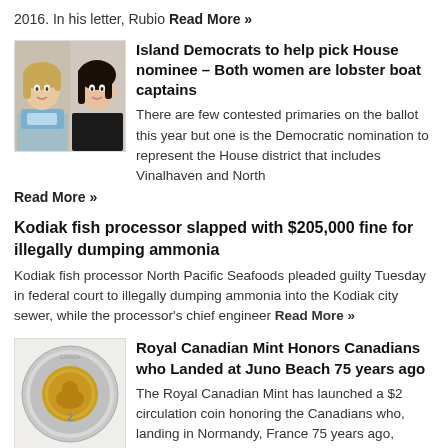2016. In his letter, Rubio Read More »
Island Democrats to help pick House nominee – Both women are lobster boat captains
[Figure (photo): Two women headshots side by side - one older blonde woman and one younger dark-haired woman]
There are few contested primaries on the ballot this year but one is the Democratic nomination to represent the House district that includes Vinalhaven and North
Read More »
Kodiak fish processor slapped with $205,000 fine for illegally dumping ammonia
Kodiak fish processor North Pacific Seafoods pleaded guilty Tuesday in federal court to illegally dumping ammonia into the Kodiak city sewer, while the processor's chief engineer Read More »
Royal Canadian Mint Honors Canadians who Landed at Juno Beach 75 years ago
[Figure (photo): A gold and silver Canadian $2 coin (toonie) against white background]
The Royal Canadian Mint has launched a $2 circulation coin honoring the Canadians who, landing in Normandy, France 75 years ago, helped establish the Allied foothold Read More »